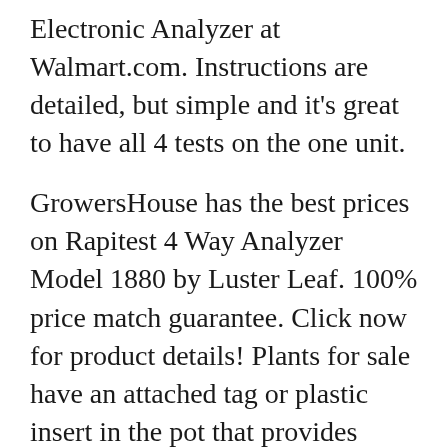Electronic Analyzer at Walmart.com. Instructions are detailed, but simple and it's great to have all 4 tests on the one unit.
GrowersHouse has the best prices on Rapitest 4 Way Analyzer Model 1880 by Luster Leaf. 100% price match guarantee. Click now for product details! Plants for sale have an attached tag or plastic insert in the pot that provides consumers with information on planting instructions 4-Way Analyzer Rapitest
Let Us Help You Find Your Perfect Pipette You need to be comfortable and find the proper fit, VWR wants to help find the best pipette for you. VWR Collection Brand The rapitest 4-way Analyzer was designed and engineered in the